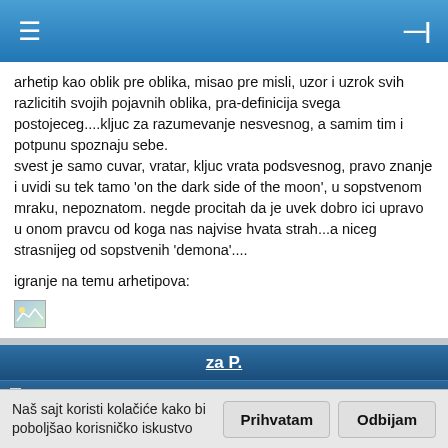≡  —|
arhetip kao oblik pre oblika, misao pre misli, uzor i uzrok svih razlicitih svojih pojavnih oblika, pra-definicija svega postojeceg....kljuc za razumevanje nesvesnog, a samim tim i potpunu spoznaju sebe.
svest je samo cuvar, vratar, kljuc vrata podsvesnog, pravo znanje i uvidi su tek tamo 'on the dark side of the moon', u sopstvenom mraku, nepoznatom. negde procitah da je uvek dobro ici upravo u onom pravcu od koga nas najvise hvata strah...a niceg strasnijeg od sopstvenih 'demona'....
igranje na temu arhetipova:
[Figure (photo): Small broken image placeholder icon]
za P.
14 Feb 2007 16:25    ↑ Idi na vrh
u nezaboravnom trenutku kad spoznas sebe izvan sebe, vidis sve postojece dimenzije, a srce sveta ti sapuce u uho jezikom za koji vise nisi nemust....desi se cudo....shvatas da ti jesi i nisi ti, shvatas da po potrebi i po zelji mozes da zivis
Naš sajt koristi kolačiće kako bi poboljšao korisničko iskustvo